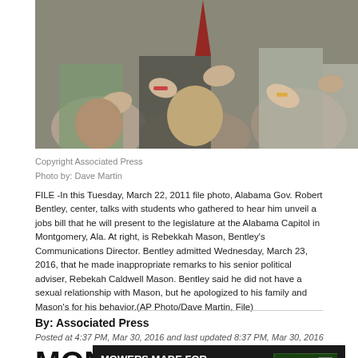[Figure (photo): Photograph of people's hands gathered together, showing Alabama Gov. Robert Bentley with students at the Alabama Capitol]
Copyright Associated Press
Photo by: Dave Martin
FILE -In this Tuesday, March 22, 2011 file photo, Alabama Gov. Robert Bentley, center, talks with students who gathered to hear him unveil a jobs bill that he will present to the legislature at the Alabama Capitol in Montgomery, Ala. At right, is Rebekkah Mason, Bentley's Communications Director. Bentley admitted Wednesday, March 23, 2016, that he made inappropriate remarks to his senior political adviser, Rebekah Caldwell Mason. Bentley said he did not have a sexual relationship with Mason, but he apologized to his family and Mason's for his behavior.(AP Photo/Dave Martin, File)
By: Associated Press
Posted at 4:37 PM, Mar 30, 2016 and last updated 8:37 PM, Mar 30, 2016
[Figure (photo): Advertisement banner: MOWERS MADE FOR MORE. FROM START TO FINISH. Toro brand ad with mower image.]
MON... to